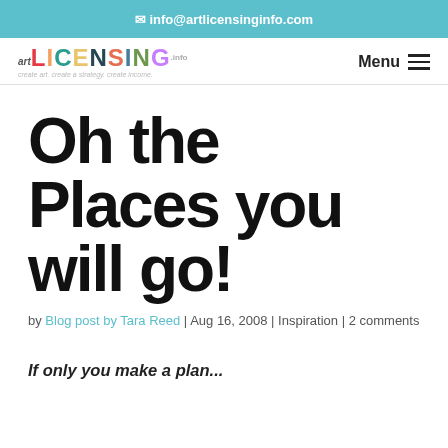✉ info@artlicensinginfo.com
[Figure (logo): Art Licensing Info logo with colorful letters and tagline 'create art. create a strategy. create income.']
Oh the Places you will go!
by Blog post by Tara Reed | Aug 16, 2008 | Inspiration | 2 comments
If only you make a plan...